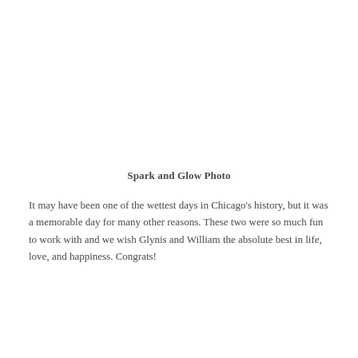Spark and Glow Photo
It may have been one of the wettest days in Chicago's history, but it was a memorable day for many other reasons.  These two were so much fun to work with and we wish Glynis and William the absolute best in life, love, and happiness.  Congrats!